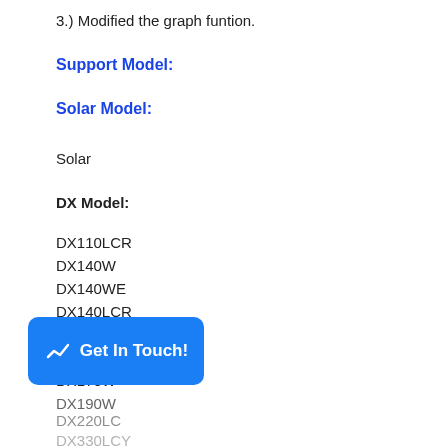3.) Modified the graph funtion.
Support Model:
Solar Model:
Solar
DX Model:
DX110LCR
DX140W
DX140WE
DX140LCR
DX140LC
DX180LC
DX170W
DX190W
DX220LC
DX330LCY